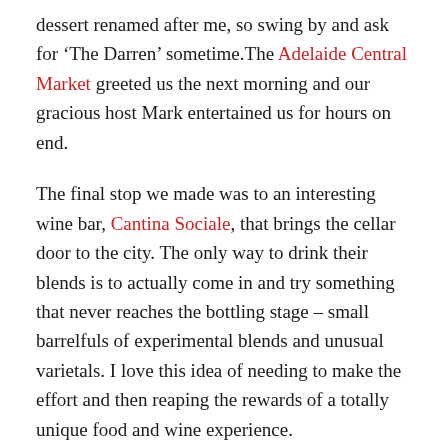dessert renamed after me, so swing by and ask for 'The Darren' sometime.The Adelaide Central Market greeted us the next morning and our gracious host Mark entertained us for hours on end.
The final stop we made was to an interesting wine bar, Cantina Sociale, that brings the cellar door to the city. The only way to drink their blends is to actually come in and try something that never reaches the bottling stage – small barrelfuls of experimental blends and unusual varietals. I love this idea of needing to make the effort and then reaping the rewards of a totally unique food and wine experience.
And on the eighth day, I found myself at the airport, heading back to Melbourne and looking forward to my next PWG experience. I'll be waiting for the call.